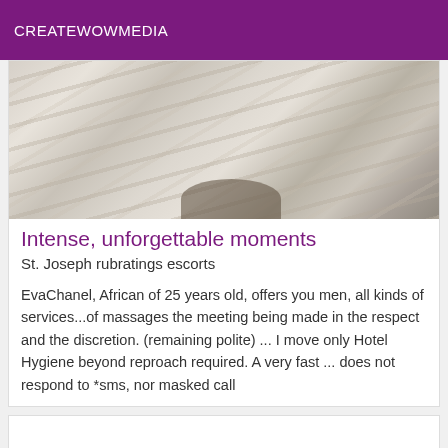CREATEWOWMEDIA
[Figure (photo): Close-up photo of rumpled white bed pillows and sheets with soft folds and shadows, with a dark element visible at the bottom]
Intense, unforgettable moments
St. Joseph rubratings escorts
EvaChanel, African of 25 years old, offers you men, all kinds of services...of massages the meeting being made in the respect and the discretion. (remaining polite) ... I move only Hotel Hygiene beyond reproach required. A very fast ... does not respond to *sms, nor masked call